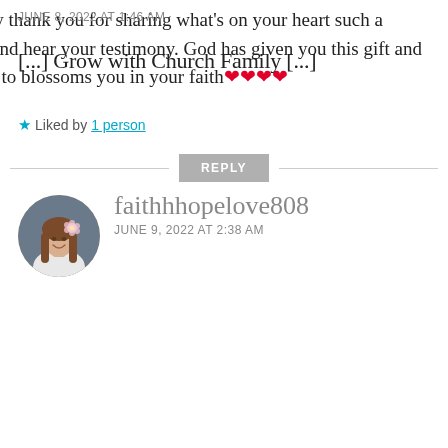JUNE 8, 2022 AT 1:46 AM
[...] Grow with Church Family [...]
★ Liked by 1 person
REPLY
[Figure (photo): Circular profile photo of a woman with long brown hair and a flower in her hair, smiling, seated in a car]
faithhhopelove808
JUNE 9, 2022 AT 2:38 AM
Omg sissy thank you for sharing what's on your heart such a blessing and hear your testimony. God has given you this gift and continues to blossoms you in your faith❤❤❤❤